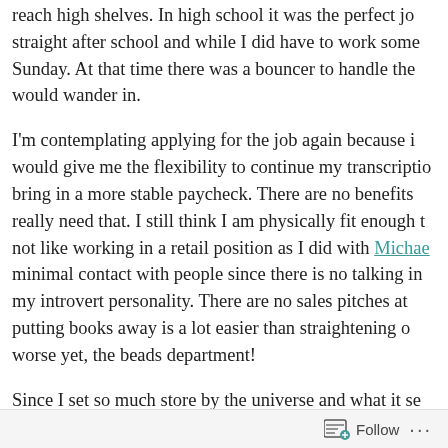reach high shelves. In high school it was the perfect job straight after school and while I did have to work some Sunday. At that time there was a bouncer to handle the would wander in.
I'm contemplating applying for the job again because it would give me the flexibility to continue my transcription bring in a more stable paycheck. There are no benefits really need that. I still think I am physically fit enough to not like working in a retail position as I did with Michaels minimal contact with people since there is no talking in my introvert personality. There are no sales pitches at putting books away is a lot easier than straightening or worse yet, the beads department!
Since I set so much store by the universe and what it se getting this email was a sign? If I apply, the worst (?) th
Follow ···